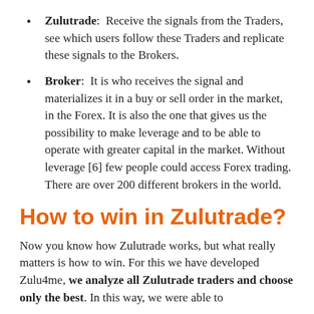Zulutrade: Receive the signals from the Traders, see which users follow these Traders and replicate these signals to the Brokers.
Broker: It is who receives the signal and materializes it in a buy or sell order in the market, in the Forex. It is also the one that gives us the possibility to make leverage and to be able to operate with greater capital in the market. Without leverage [6] few people could access Forex trading. There are over 200 different brokers in the world.
How to win in Zulutrade?
Now you know how Zulutrade works, but what really matters is how to win. For this we have developed Zulu4me, we analyze all Zulutrade traders and choose only the best. In this way, we were able to